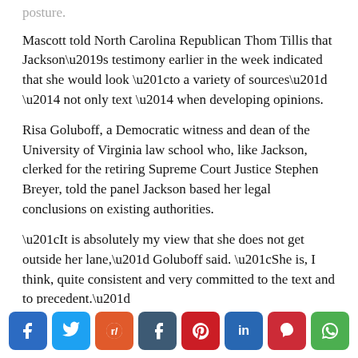posture.
Mascott told North Carolina Republican Thom Tillis that Jackson’s testimony earlier in the week indicated that she would look “to a variety of sources” — not only text — when developing opinions.
Risa Goluboff, a Democratic witness and dean of the University of Virginia law school who, like Jackson, clerked for the retiring Supreme Court Justice Stephen Breyer, told the panel Jackson based her legal conclusions on existing authorities.
“It is absolutely my view that she does not get outside her lane,” Goluboff said. “She is, I think, quite consistent and very committed to the text and to precedent.”
Tillis called Jackson “eminently qualified,” and said
[Figure (infographic): Social media share buttons row: Facebook (blue), Twitter (light blue), Reddit (orange), Tumblr (dark teal), Pinterest (red), LinkedIn (blue), Parler (red), WhatsApp (green)]